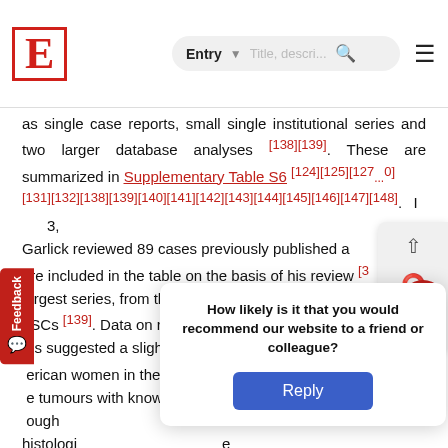E [logo] | Entry | Title, description... [search] [menu]
as single case reports, small single institutional series and two larger database analyses [138][139]. These are summarized in Supplementary Table S6 [124][125][127...[0] [131][132][138][139][140][141][142][143][144][145][146][147][148]. In 2013, Garlick reviewed 89 cases previously published and these are included in the table on the basis of his review [3...] The largest series, from the National Cancer Database, includes ... SCs [139]. Data on racial differences are limited, ...e ...es suggested a slightly greater incidence among African American women in the USA [139]. It is noteworthy that % of the tumours with known receptor status ... ER-...e. ...ough ... e...of histologic... ...e observati... ..., it is not uncommon... Several